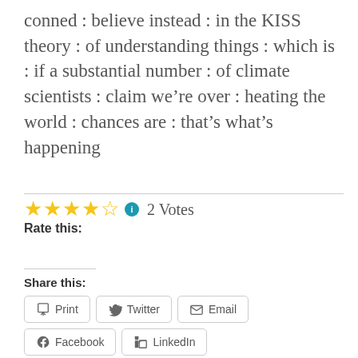conned : believe instead : in the KISS theory : of understanding things : which is : if a substantial number : of climate scientists : claim we’re over : heating the world : chances are : that’s what’s happening
Rate this: ★★★★½ 2 Votes
Share this:
Print | Twitter | Email | Facebook | LinkedIn